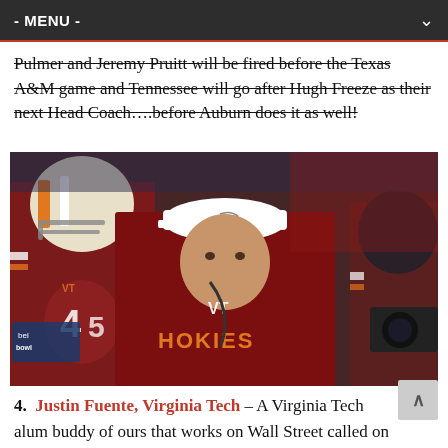- MENU -
Pulmer and Jeremy Pruitt will be fired before the Texas A&M game and Tennessee will go after Hugh Freeze as their next Head Coach....before Auburn does it as well!
[Figure (photo): A man wearing a Virginia Tech Hokies maroon hoodie and white cap stands in front of football players in Virginia Tech uniforms with orange and white helmets. The setting appears to be a stadium or tunnel entrance.]
4. Justin Fuente, Virginia Tech – A Virginia Tech alum buddy of ours that works on Wall Street called on